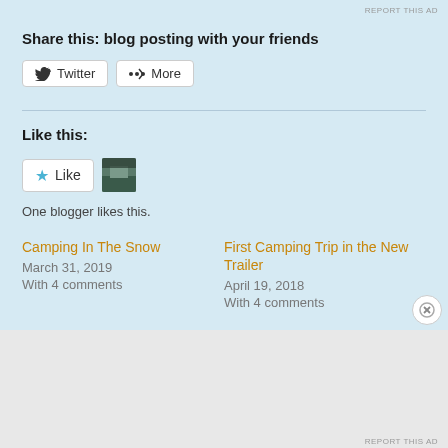REPORT THIS AD
Share this: blog posting with your friends
[Figure (infographic): Twitter and More share buttons]
Like this:
[Figure (infographic): Like button with star and blogger avatar thumbnail]
One blogger likes this.
Camping In The Snow
March 31, 2019
With 4 comments
First Camping Trip in the New Trailer
April 19, 2018
With 4 comments
Advertisements
[Figure (screenshot): DuckDuckGo advertisement banner: 'Search, browse, and email with more privacy. All in One Free App' with phone mockup showing DuckDuckGo logo]
REPORT THIS AD